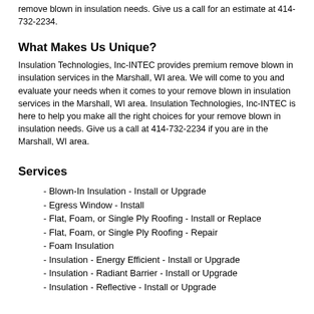remove blown in insulation needs. Give us a call for an estimate at 414-732-2234.
What Makes Us Unique?
Insulation Technologies, Inc-INTEC provides premium remove blown in insulation services in the Marshall, WI area. We will come to you and evaluate your needs when it comes to your remove blown in insulation services in the Marshall, WI area. Insulation Technologies, Inc-INTEC is here to help you make all the right choices for your remove blown in insulation needs. Give us a call at 414-732-2234 if you are in the Marshall, WI area.
Services
- Blown-In Insulation - Install or Upgrade
- Egress Window - Install
- Flat, Foam, or Single Ply Roofing - Install or Replace
- Flat, Foam, or Single Ply Roofing - Repair
- Foam Insulation
- Insulation - Energy Efficient - Install or Upgrade
- Insulation - Radiant Barrier - Install or Upgrade
- Insulation - Reflective - Install or Upgrade